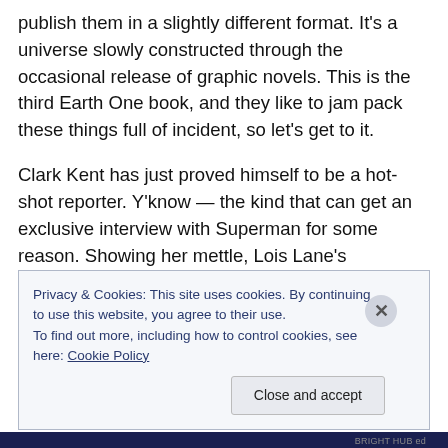publish them in a slightly different format. It's a universe slowly constructed through the occasional release of graphic novels. This is the third Earth One book, and they like to jam pack these things full of incident, so let's get to it.
Clark Kent has just proved himself to be a hot-shot reporter. Y'know — the kind that can get an exclusive interview with Superman for some reason. Showing her mettle, Lois Lane's suspicions are triggered by this impossible exclusivity and she launches a full investigation
Privacy & Cookies: This site uses cookies. By continuing to use this website, you agree to their use.
To find out more, including how to control cookies, see here: Cookie Policy
Close and accept